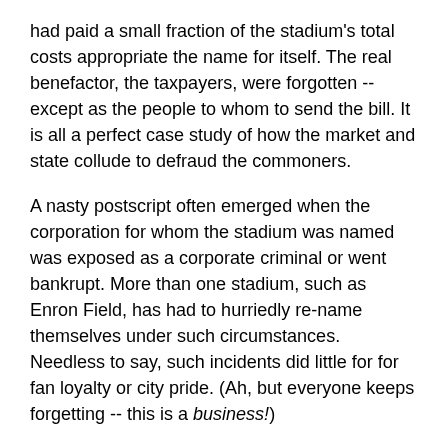had paid a small fraction of the stadium's total costs appropriate the name for itself. The real benefactor, the taxpayers, were forgotten -- except as the people to whom to send the bill. It is all a perfect case study of how the market and state collude to defraud the commoners.
A nasty postscript often emerged when the corporation for whom the stadium was named was exposed as a corporate criminal or went bankrupt. More than one stadium, such as Enron Field, has had to hurriedly re-name themselves under such circumstances. Needless to say, such incidents did little for for fan loyalty or city pride. (Ah, but everyone keeps forgetting -- this is a business!)
We now learn, in a front-page story in The New York Times, "As Teams Abandon Stadiums, The Public Is Left With the Bill." This is the inevitable denouement of decades of reckless subsidies to sports teams underwritten by the taxpayers.
In New Jersey, the old Giants Stadium was demolished